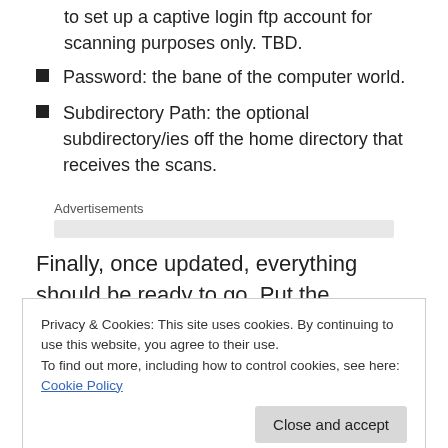to set up a captive login ftp account for scanning purposes only. TBD.
Password: the bane of the computer world.
Subdirectory Path: the optional subdirectory/ies off the home directory that receives the scans.
[Figure (other): Advertisements placeholder bar]
Finally, once updated, everything should be ready to go. Put the document on the scanner, click the buttons (I can go through this if anyone really wants me to), select
Privacy & Cookies: This site uses cookies. By continuing to use this website, you agree to their use.
To find out more, including how to control cookies, see here: Cookie Policy
get a connection error. Things to check for are the ftp